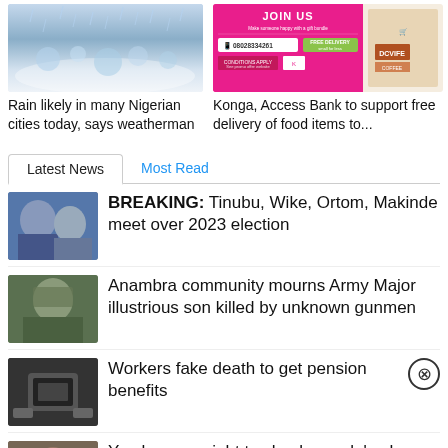[Figure (photo): Rainy weather photo with water droplets and blurred background]
[Figure (illustration): Konga and Access Bank advertisement for free delivery of food items with JOIN US banner]
Rain likely in many Nigerian cities today, says weatherman
Konga, Access Bank to support free delivery of food items to...
Latest News
Most Read
[Figure (photo): Thumbnail photo of politicians for Tinubu, Wike, Ortom, Makinde story]
BREAKING: Tinubu, Wike, Ortom, Makinde meet over 2023 election
[Figure (photo): Thumbnail photo of Army Major for Anambra story]
Anambra community mourns Army Major illustrious son killed by unknown gunmen
[Figure (photo): Thumbnail photo for Workers pension story]
Workers fake death to get pension benefits
[Figure (photo): Thumbnail photo for phone checking story]
You have no right to check people's phones on the